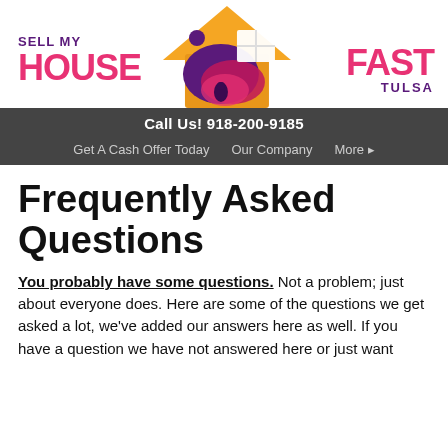[Figure (logo): Sell My House Fast Tulsa logo with colorful house icon featuring orange roof, purple/red/pink swoosh shapes and white window grid]
Call Us! 918-200-9185
Get A Cash Offer Today   Our Company   More ▸
Frequently Asked Questions
You probably have some questions. Not a problem; just about everyone does. Here are some of the questions we get asked a lot, we've added our answers here as well. If you have a question we have not answered here or just want